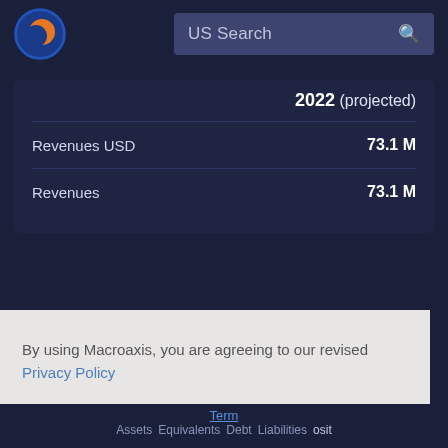[Figure (screenshot): Macroaxis logo — circular globe icon with orange and blue colors]
US Search
|  | 2022 (projected) |
| --- | --- |
| Revenues USD | 73.1 M |
| Revenues | 73.1 M |
By using Macroaxis, you are agreeing to our revised Privacy Policy
OK
Term
Assets Equivalents Debt Liabilities